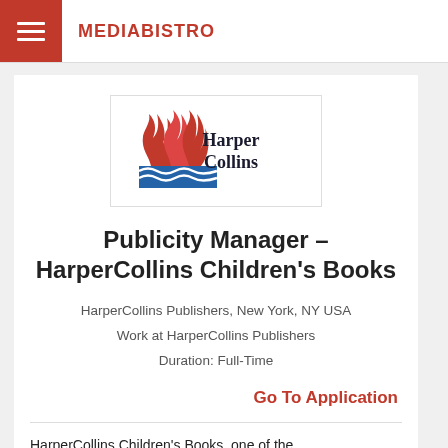MEDIABISTRO
[Figure (logo): HarperCollins Publishers logo with red flame and blue wave graphic]
Publicity Manager – HarperCollins Children's Books
HarperCollins Publishers, New York, NY USA
Work at HarperCollins Publishers
Duration: Full-Time
Go To Application
HarperCollins Children's Books, one of the